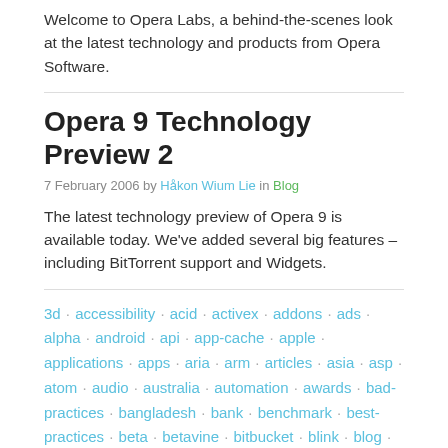Welcome to Opera Labs, a behind-the-scenes look at the latest technology and products from Opera Software.
Opera 9 Technology Preview 2
7 February 2006 by Håkon Wium Lie in Blog
The latest technology preview of Opera 9 is available today. We've added several big features – including BitTorrent support and Widgets.
3d · accessibility · acid · activex · addons · ads · alpha · android · api · app-cache · apple · applications · apps · aria · arm · articles · asia · asp · atom · audio · australia · automation · awards · bad-practices · bangladesh · bank · benchmark · best-practices · beta · betavine · bitbucket · blink · blog · bondi · border-radius ·